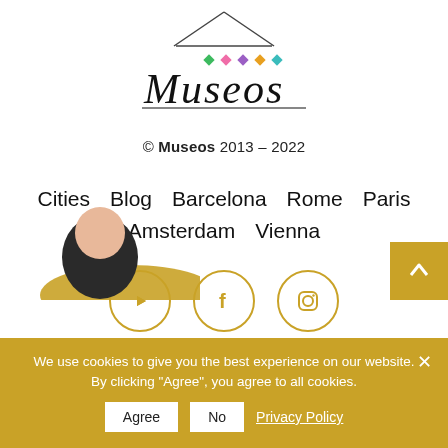[Figure (logo): Museos logo with a hand-drawn style triangle/house shape above the text 'Museos' in cursive script, with small colored diamond shapes (green, pink, purple, orange, teal)]
© Museos 2013 – 2022
Cities   Blog   Barcelona   Rome   Paris   Amsterdam   Vienna
[Figure (other): Three circular social media icons with gold/yellow borders: YouTube, Facebook, Instagram]
[Figure (photo): Partial photo of a person peeking from the bottom left corner]
We use cookies to give you the best experience on our website. By clicking "Agree", you agree to all cookies.
Agree   No   Privacy Policy